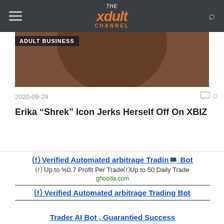THE xdult CHANNEL
[Figure (photo): Partial hero image with dark brownish background, partially visible circular object.]
ADULT BUSINESS
2020-09-29
0 comments
Erika “Shrek” Icon Jerks Herself Off On XBIZ
⒡ Verified Automated arbitrage Trading Bot
⒡ Up to %0.7 Profit Per Trade⒡Up to 50 Daily Trade
ghooda.com
⒡ Verified Automated arbitrage Trading Bot
⒡ Up to %0.7 Profit Per Trade⒡Up to 50 Daily Trade
ghooda.com
Trader AI Bot , Guarantied Success